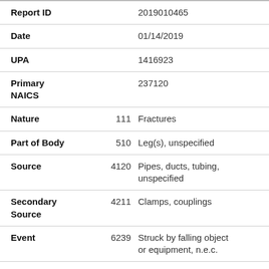| Field | Code | Description |
| --- | --- | --- |
| Report ID |  | 2019010465 |
| Date |  | 01/14/2019 |
| UPA |  | 1416923 |
| Primary NAICS |  | 237120 |
| Nature | 111 | Fractures |
| Part of Body | 510 | Leg(s), unspecified |
| Source | 4120 | Pipes, ducts, tubing, unspecified |
| Secondary Source | 4211 | Clamps, couplings |
| Event | 6239 | Struck by falling object or equipment, n.e.c. |
| Hospitalized |  | Yes |